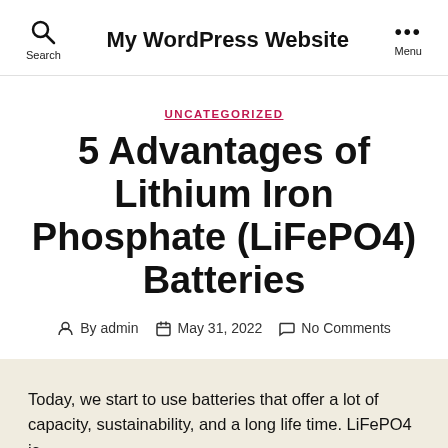My WordPress Website
UNCATEGORIZED
5 Advantages of Lithium Iron Phosphate (LiFePO4) Batteries
By admin   May 31, 2022   No Comments
Today, we start to use batteries that offer a lot of capacity, sustainability, and a long life time. LiFePO4 is